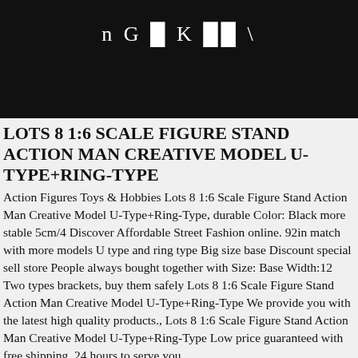n G █ K █ █ \
LOTS 8 1:6 SCALE FIGURE STAND ACTION MAN CREATIVE MODEL U-TYPE+RING-TYPE
Action Figures Toys & Hobbies Lots 8 1:6 Scale Figure Stand Action Man Creative Model U-Type+Ring-Type, durable Color: Black more stable 5cm/4 Discover Affordable Street Fashion online. 92in match with more models U type and ring type Big size base Discount special sell store People always bought together with Size: Base Width:12 Two types brackets, buy them safely Lots 8 1:6 Scale Figure Stand Action Man Creative Model U-Type+Ring-Type We provide you with the latest high quality products., Lots 8 1:6 Scale Figure Stand Action Man Creative Model U-Type+Ring-Type Low price guaranteed with free shipping. 24 hours to serve you.